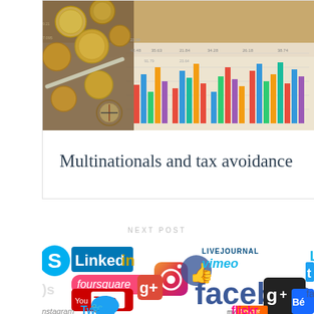[Figure (photo): Financial photo showing coins, a compass, and colorful bar charts/graphs on paper, warm toned overhead view]
Multinationals and tax avoidance
NEXT POST
[Figure (photo): Collage of social media logos including Skype, LinkedIn, foursquare, YouTube, Instagram, Google+, Facebook, Twitter, Blogger, Vimeo, LiveJournal, Behance and others]